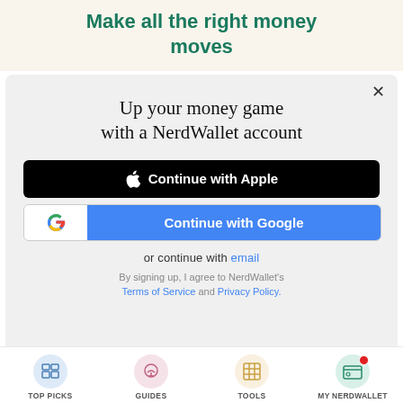Make all the right money moves
[Figure (screenshot): Modal dialog for NerdWallet account sign-up with Apple and Google login options]
Up your money game with a NerdWallet account
Continue with Apple
Continue with Google
or continue with email
By signing up, I agree to NerdWallet's Terms of Service and Privacy Policy.
TOP PICKS | GUIDES | TOOLS | MY NERDWALLET